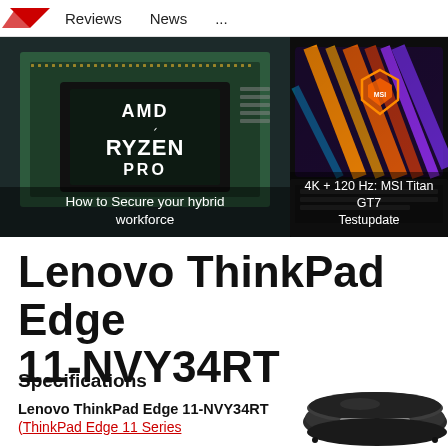Reviews   News   ...
[Figure (photo): AMD Ryzen Pro processor chip close-up with caption 'How to Secure your hybrid workforce']
[Figure (photo): MSI Titan GT7 gaming laptop with colorful RGB display and MSI logo, caption '4K + 120 Hz: MSI Titan GT7 Testupdate']
Lenovo ThinkPad Edge 11-NVY34RT
Specifications
Lenovo ThinkPad Edge 11-NVY34RT (ThinkPad Edge 11 Series)
[Figure (photo): Lenovo ThinkPad Edge 11 laptop product photo, showing a thin black laptop from angled top view]